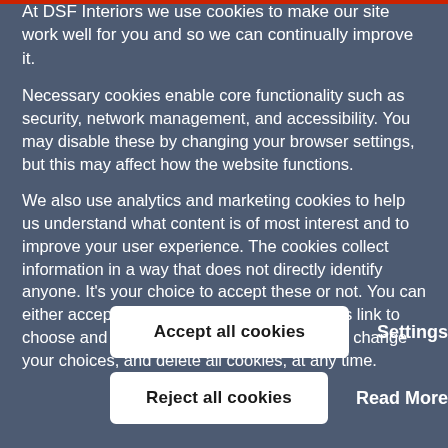At DSF Interiors we use cookies to make our site work well for you and so we can continually improve it.
Necessary cookies enable core functionality such as security, network management, and accessibility. You may disable these by changing your browser settings, but this may affect how the website functions.
We also use analytics and marketing cookies to help us understand what content is of most interest and to improve your user experience. The cookies collect information in a way that does not directly identify anyone. It's your choice to accept these or not. You can either accept all, reject all, or use the settings link to choose and save individual choices. You can change your choices, and delete all cookies, at any time.